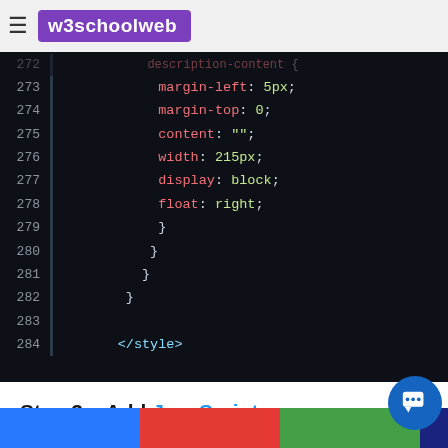w3schoolweb
[Figure (screenshot): Code editor screenshot showing CSS lines 273-284 with margin-left, margin-top, content, width, display, float properties and closing braces, ending with </style> tag]
Step 3 – Add JavaScript